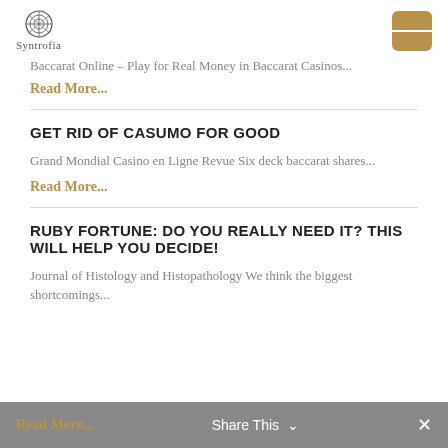Syntrofia
Baccarat Online – Play for Real Money in Baccarat Casinos...
Read More...
GET RID OF CASUMO FOR GOOD
Grand Mondial Casino en Ligne Revue Six deck baccarat shares...
Read More...
RUBY FORTUNE: DO YOU REALLY NEED IT? THIS WILL HELP YOU DECIDE!
Journal of Histology and Histopathology We think the biggest shortcomings...
Read More...   Share This   ×